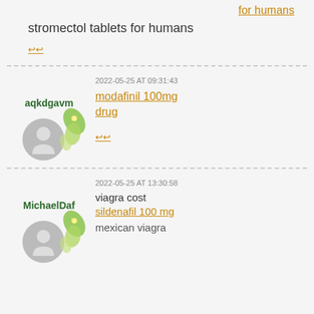for humans
stromectol tablets for humans
↩↩
2022-05-25 AT 09:31:43
aqkdgavm
modafinil 100mg drug
↩↩
2022-05-25 AT 13:30:58
MichaelDaf
viagra cost sildenafil 100 mg mexican viagra